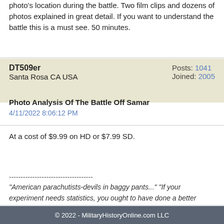photo's location during the battle. Two film clips and dozens of photos explained in great detail. If you want to understand the battle this is a must see. 50 minutes.
| DT509er | Posts: 1041 |
| Santa Rosa CA USA | Joined: 2005 |
Photo Analysis Of The Battle Off Samar
4/11/2022 8:06:12 PM
At a cost of $9.99 on HD or $7.99 SD.
------------------------------------
"American parachutists-devils in baggy pants..." “If your experiment needs statistics, you ought to have done a better experiment.” Lord Ernest Rutherford
© 2022 - MilitaryHistoryOnline.com LLC